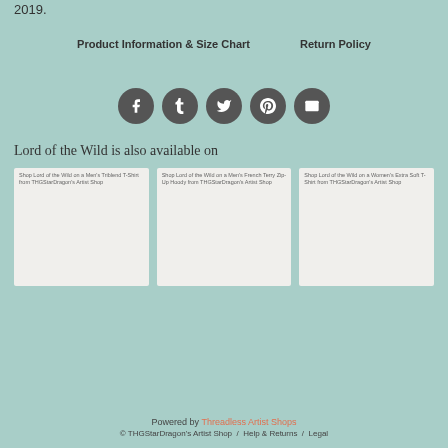2019.
Product Information & Size Chart    Return Policy
[Figure (illustration): Row of five dark circular social media icon buttons: Facebook, Tumblr, Twitter, Pinterest, Email]
Lord of the Wild is also available on
[Figure (illustration): Three product card thumbnails side by side: (1) Shop Lord of the Wild on a Men's Triblend T-Shirt from THGStarDragon's Artist Shop, (2) Shop Lord of the Wild on a Men's French Terry Zip-Up Hoody from THGStarDragon's Artist Shop, (3) Shop Lord of the Wild on a Women's Extra Soft T-Shirt from THGStarDragon's Artist Shop]
Powered by Threadless Artist Shops
© THGStarDragon's Artist Shop / Help & Returns / Legal